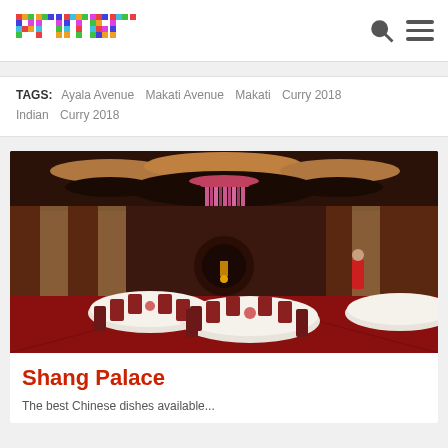primer
TAGS: Ayala Avenue  Makati Avenue  Makati  Curry 2018  Indian  Curry 2018
[Figure (photo): Interior of Shang Palace Chinese restaurant showing elegantly set round tables with white tablecloths and red chairs, a dramatic pink crystal chandelier hanging from the ceiling, warm lighting panels on the walls, and rich dark brown wood decor throughout.]
Shang Palace
The best Chinese dishes available...